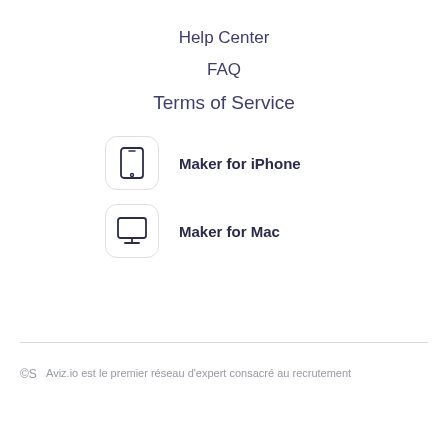Help Center
FAQ
Terms of Service
Maker for iPhone
Maker for Mac
Aviz.io est le premier réseau d'expert consacré au recrutement